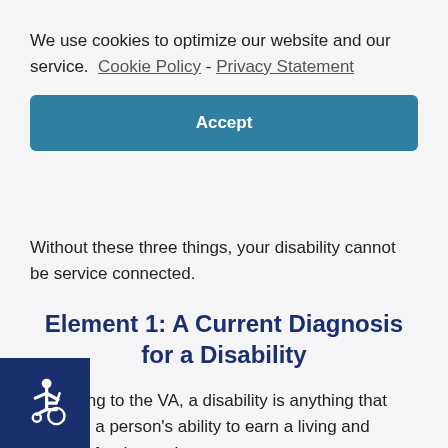We use cookies to optimize our website and our service.  Cookie Policy - Privacy Statement
Accept
Without these three things, your disability cannot be service connected.
Element 1: A Current Diagnosis for a Disability
According to the VA, a disability is anything that reduces a person's ability to earn a living and function for themselves.
[Figure (illustration): Wheelchair accessibility icon in white on dark blue square background, bottom left corner]